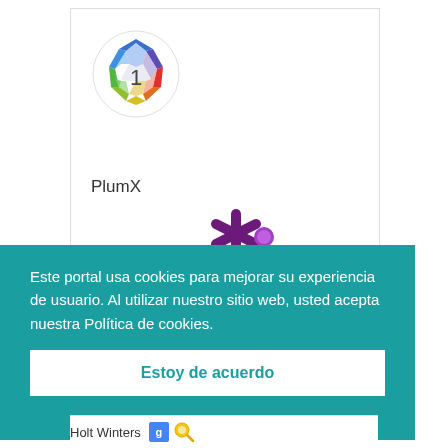[Figure (logo): PlumX metrics logo - colorful geometric gem shape with number 1 in the center, rainbow colored polygon outline]
PlumX
[Figure (logo): Altmetric donut-style icon - purple asterisk/snowflake shape with a purple circle dot]
Este portal usa cookies para mejorar su experiencia de usuario. Al utilizar nuestro sitio web, usted acepta nuestra Política de cookies.
Estoy de acuerdo
Holt Winters